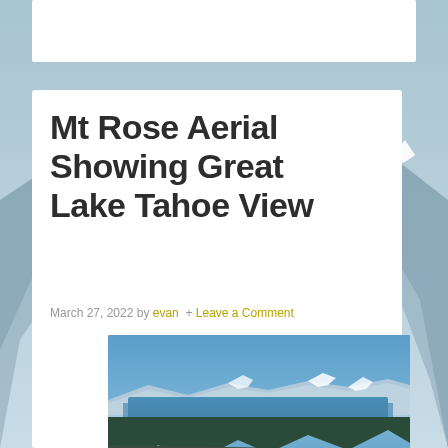Mt Rose Aerial Showing Great Lake Tahoe View
March 27, 2022 by evan  +  Leave a Comment
[Figure (photo): Aerial photograph of Mt Rose ski resort with snow-covered slopes and ski runs visible, Lake Tahoe visible in the background under a blue sky with mountains in the distance.]